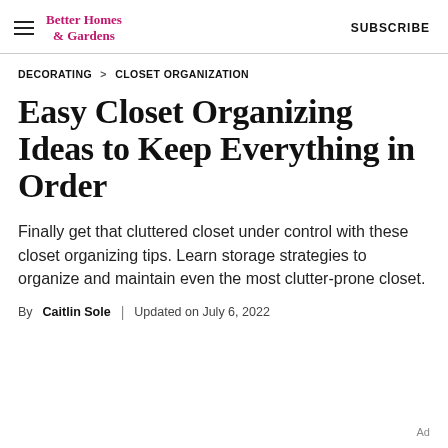Better Homes & Gardens | SUBSCRIBE
DECORATING > CLOSET ORGANIZATION
Easy Closet Organizing Ideas to Keep Everything in Order
Finally get that cluttered closet under control with these closet organizing tips. Learn storage strategies to organize and maintain even the most clutter-prone closet.
By Caitlin Sole | Updated on July 6, 2022